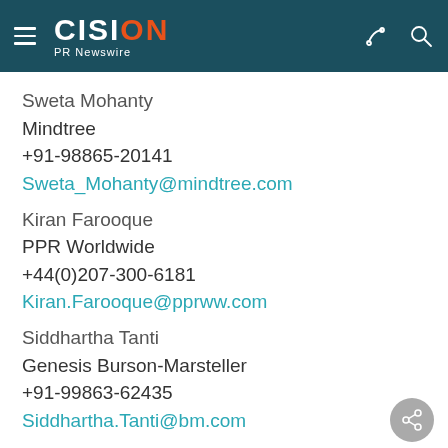CISION PR Newswire
Sweta Mohanty
Mindtree
+91-98865-20141
Sweta_Mohanty@mindtree.com
Kiran Farooque
PPR Worldwide
+44(0)207-300-6181
Kiran.Farooque@pprww.com
Siddhartha Tanti
Genesis Burson-Marsteller
+91-99863-62435
Siddhartha.Tanti@bm.com